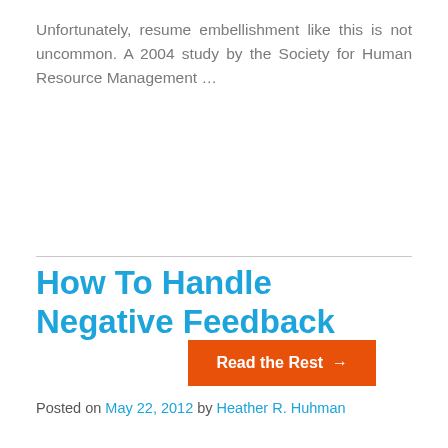Unfortunately, resume embellishment like this is not uncommon. A 2004 study by the Society for Human Resource Management …
Read the Rest →
How To Handle Negative Feedback
Posted on May 22, 2012 by Heather R. Huhman
It can often be difficult to handle negative feedback without damaging your personal brand. Even if the comments are being offered as constructive criticism, it can be hard for us to see it that way.
While criticism can be tough to deal with, it's important to